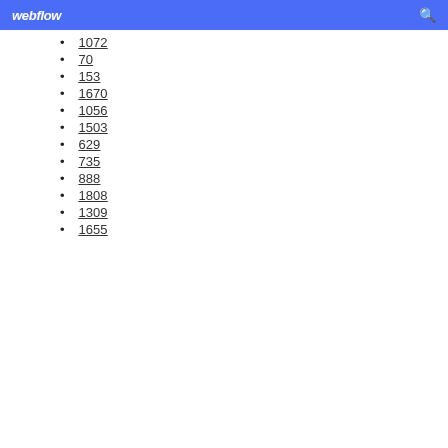webflow
1072
70
153
1670
1056
1503
629
735
888
1808
1309
1655